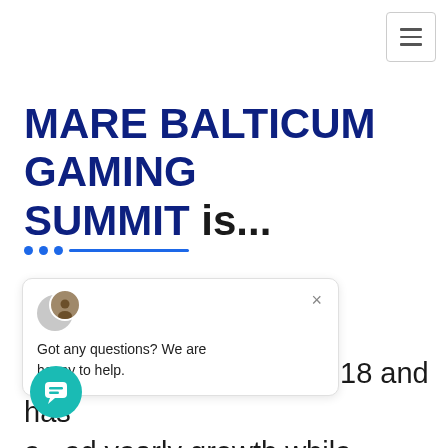[Figure (other): Hamburger menu button (three horizontal lines) in top-right corner with border]
MARE BALTICUM GAMING SUMMIT is...
[Figure (other): Three blue dots followed by a blue horizontal line separator]
...st important in- p...conference series has been launched in 2018 and has e...ed yearly growth while continuously bringing innovation to the
[Figure (other): Chat widget overlay showing avatar icons, close button, and message: Got any questions? We are happy to help.]
[Figure (other): Teal circular chat bubble button in bottom-left corner]